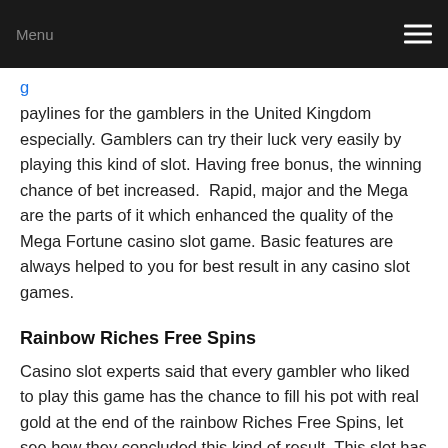Menu
paylines for the gamblers in the United Kingdom especially. Gamblers can try their luck very easily by playing this kind of slot. Having free bonus, the winning chance of bet increased.  Rapid, major and the Mega are the parts of it which enhanced the quality of the Mega Fortune casino slot game. Basic features are always helped to you for best result in any casino slot games.
Rainbow Riches Free Spins
Casino slot experts said that every gambler who liked to play this game has the chance to fill his pot with real gold at the end of the rainbow Riches Free Spins, let see how they concluded this kind of result. This slot has the facility to deposit to the lowest amount is 25000, and to all...